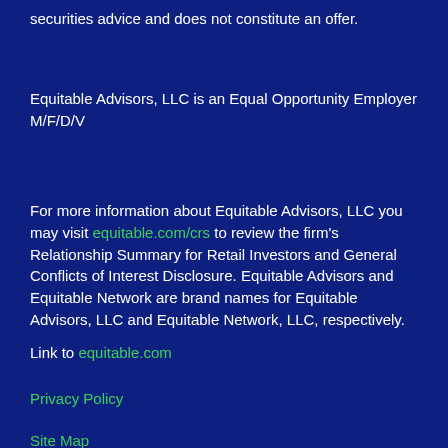securities advice and does not constitute an offer.
Equitable Advisors, LLC is an Equal Opportunity Employer M/F/D/V
For more information about Equitable Advisors, LLC you may visit equitable.com/crs to review the firm's Relationship Summary for Retail Investors and General Conflicts of Interest Disclosure. Equitable Advisors and Equitable Network are brand names for Equitable Advisors, LLC and Equitable Network, LLC, respectively.
Link to equitable.com
Privacy Policy
Site Map